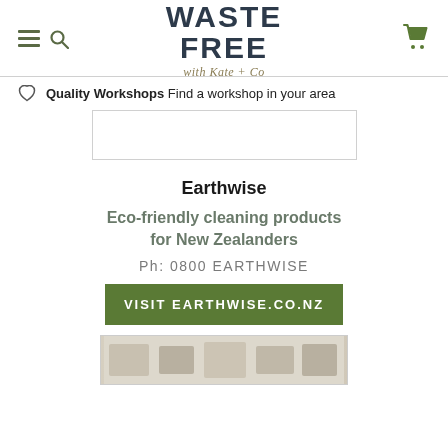WASTE FREE with Kate + Co
Quality Workshops Find a workshop in your area
[Figure (other): Product image box placeholder]
Earthwise
Eco-friendly cleaning products for New Zealanders
Ph: 0800 EARTHWISE
VISIT EARTHWISE.CO.NZ
[Figure (photo): Product/brand photo at bottom of page]